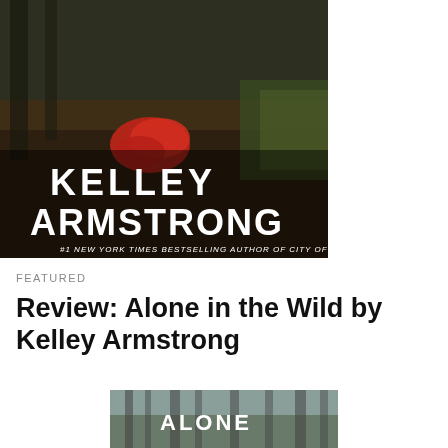[Figure (photo): Book cover image showing a forest floor with fallen leaves and a red garment, overlaid with text: KELLEY ARMSTRONG, #1 NEW YORK TIMES BESTSELLING AUTHOR OF CITY OF THE LOST]
FEATURED
Review: Alone in the Wild by Kelley Armstrong
[Figure (photo): Book cover of 'Alone in the Wild' by Kelley Armstrong showing a misty forest with white trees and the word ALONE visible]